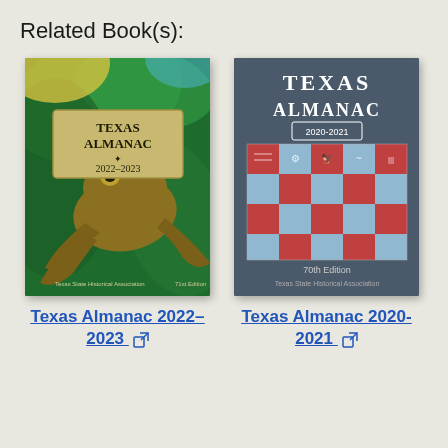Related Book(s):
[Figure (illustration): Book cover of Texas Almanac 2022-2023, 71st Edition. Green background with large frog illustration and tan label with book title.]
Texas Almanac 2022–2023 🔗
[Figure (illustration): Book cover of Texas Almanac 2020-2021, 70th Edition. Dark blue-gray background with title and checkerboard grid of Texas-themed icons in red and light blue.]
Texas Almanac 2020-2021 🔗